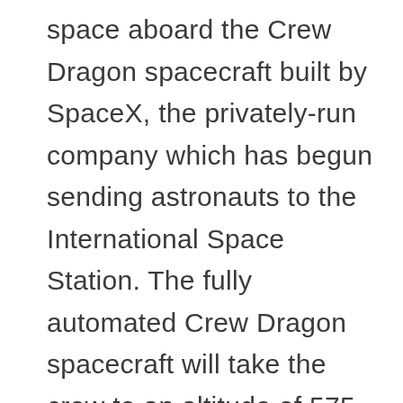space aboard the Crew Dragon spacecraft built by SpaceX, the privately-run company which has begun sending astronauts to the International Space Station. The fully automated Crew Dragon spacecraft will take the crew to an altitude of 575 kilometers above the Earth's surface, just above the current positions of both the ISS and the Hubble Space Telescope.   SpaceX said the four space tourists will “conduct scientific research designed to advance human